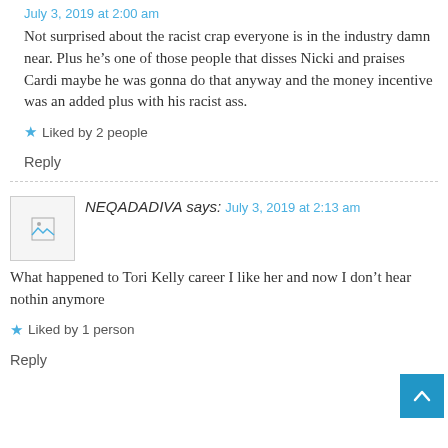July 3, 2019 at 2:00 am
Not surprised about the racist crap everyone is in the industry damn near. Plus he’s one of those people that disses Nicki and praises Cardi maybe he was gonna do that anyway and the money incentive was an added plus with his racist ass.
★ Liked by 2 people
Reply
NEQADADIVA says:
July 3, 2019 at 2:13 am
What happened to Tori Kelly career I like her and now I don’t hear nothin anymore
★ Liked by 1 person
Reply